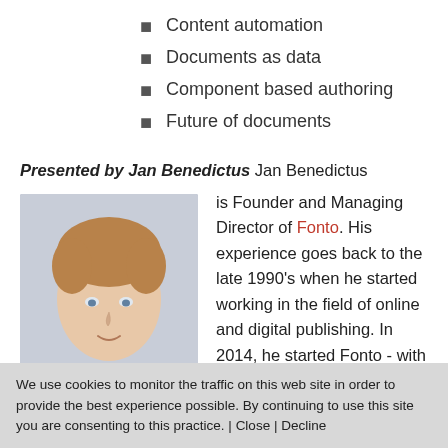Content automation
Documents as data
Component based authoring
Future of documents
Presented by Jan Benedictus Jan Benedictus is Founder and Managing Director of Fonto. His experience goes back to the late 1990's when he started working in the field of online and digital publishing. In 2014, he started Fonto - with the mission to make structured content
[Figure (photo): Portrait photo of Jan Benedictus, a man with light brown hair wearing a light blue shirt, against a neutral background.]
We use cookies to monitor the traffic on this web site in order to provide the best experience possible. By continuing to use this site you are consenting to this practice. | Close | Decline